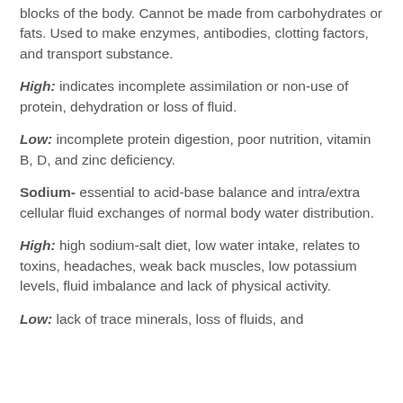blocks of the body. Cannot be made from carbohydrates or fats. Used to make enzymes, antibodies, clotting factors, and transport substance.
High: indicates incomplete assimilation or non-use of protein, dehydration or loss of fluid.
Low: incomplete protein digestion, poor nutrition, vitamin B, D, and zinc deficiency.
Sodium- essential to acid-base balance and intra/extra cellular fluid exchanges of normal body water distribution.
High: high sodium-salt diet, low water intake, relates to toxins, headaches, weak back muscles, low potassium levels, fluid imbalance and lack of physical activity.
Low: lack of trace minerals, loss of fluids, and